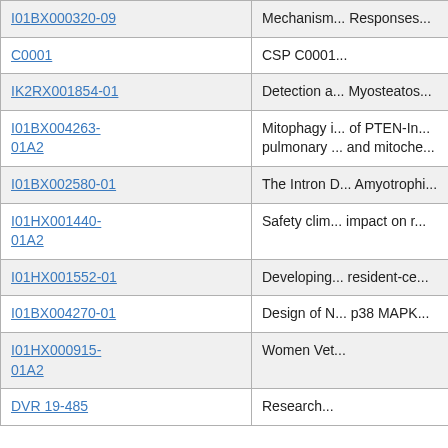| Grant Number | Title (truncated) |
| --- | --- |
| I01BX000320-09 | Mechanism... Responses... |
| C0001 | CSP C0001... |
| IK2RX001854-01 | Detection a... Myosteatos... |
| I01BX004263-01A2 | Mitophagy i... of PTEN-In... pulmonary ... and mitoche... |
| I01BX002580-01 | The Intron D... Amyotrophi... |
| I01HX001440-01A2 | Safety clim... impact on r... |
| I01HX001552-01 | Developing... resident-ce... |
| I01BX004270-01 | Design of N... p38 MAPK... |
| I01HX000915-01A2 | Women Vet... |
| DVR 19-485 | Research... |